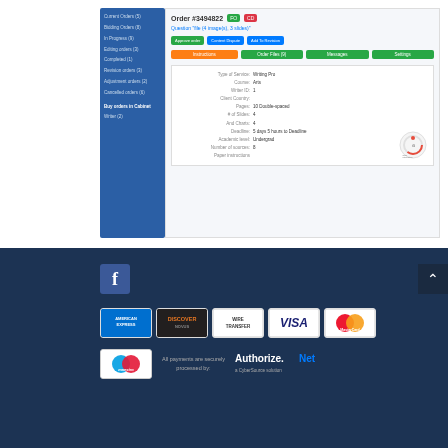[Figure (screenshot): Screenshot of an order management interface showing Order #3494822 with FO and CD badges, order details panel with sidebar navigation, action buttons, tabs (Instructions, Order Files, Messages, Settings), and order detail fields including type of service, discipline, writer ID, client country, etc.]
[Figure (logo): Facebook logo icon (blue square with white f)]
[Figure (infographic): Payment method logos: American Express, Discover Novus, Wire Transfer, Visa, MasterCard, Maestro. Text: All payments are securely processed by: Authorize.Net a CyberSource solution]